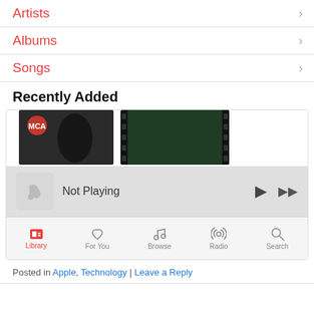Artists
Albums
Songs
Recently Added
[Figure (screenshot): iOS Music app screenshot showing mini player 'Not Playing' with play and fast-forward controls, and tab bar with Library (active), For You, Browse, Radio, Search tabs.]
Posted in Apple, Technology | Leave a Reply